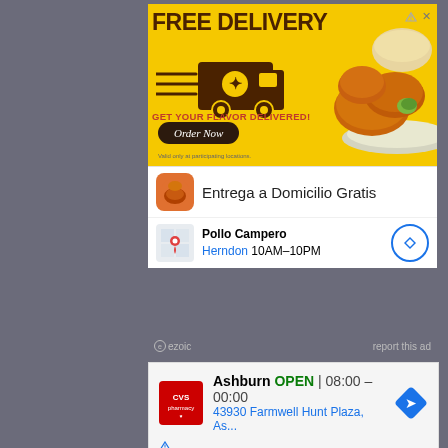[Figure (screenshot): Pollo Campero free delivery ad banner with yellow background showing FREE DELIVERY text, food delivery truck illustration, fried chicken image, GET YOUR FLAVOR DELIVERED! text, Order Now button]
Entrega a Domicilio Gratis
Pollo Campero
Herndon 10AM–10PM
ezoic
report this ad
[Figure (screenshot): CVS Pharmacy ad showing Ashburn location OPEN 08:00-00:00 with address 43930 Farmwell Hunt Plaza, As...]